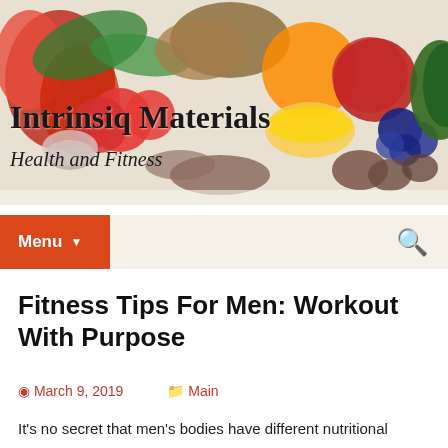[Figure (photo): Header image showing various healthy foods including tomatoes, peppers, oranges, blueberries, avocado, walnuts, and other nutritious items on a white background]
Intrinsiq Materials
Health and Fitness
Menu
Fitness Tips For Men: Workout With Purpose
March 9, 2019   Main
It's no secret that men's bodies have different nutritional